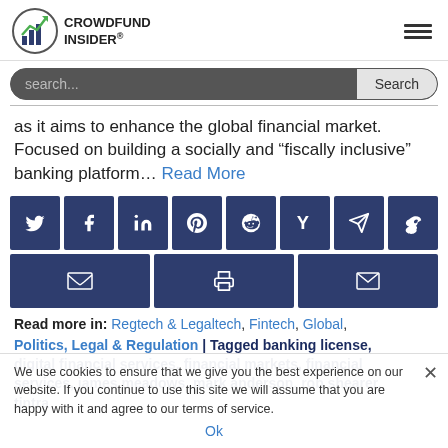CROWDFUND INSIDER
as it aims to enhance the global financial market. Focused on building a socially and “fiscally inclusive” banking platform… Read More
[Figure (other): Row of social media share buttons: Twitter, Facebook, LinkedIn, Pinterest, Reddit, Hacker News, Telegram, Weibo, Email, Print, Email]
Read more in: Regtech & Legaltech, Fintech, Global, Politics, Legal & Regulation | Tagged banking license, digital financial services, financial markets, financial services, james meadows, mark anderson, rob shearer, tintra
We use cookies to ensure that we give you the best experience on our website. If you continue to use this site we will assume that you are happy with it and agree to our terms of service.
Ok